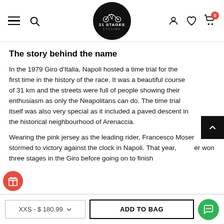[Figure (screenshot): Website header with hamburger menu, search icon, 21 Stages Cycling logo (circular black logo with bicycle), user account icon, heart/wishlist icon, and shopping cart icon with badge showing 0]
The story behind the name
In the 1979 Giro d'Italia, Napoli hosted a time trial for the first time in the history of the race. It was a beautiful course of 31 km and the streets were full of people showing their enthusiasm as only the Neapolitans can do. The time trial itself was also very special as it included a paved descent in the historical neighbourhood of Arenaccia.
Wearing the pink jersey as the leading rider, Francesco Moser stormed to victory against the clock in Napoli. That year, [Mos]er won three stages in the Giro before going on to finish
[Figure (other): Scroll to top button - black square with white up-arrow chevron]
[Figure (other): Gift/reward icon - red circle with gift box symbol]
XXS - $ 180.99
ADD TO BAG
[Figure (other): Live chat button - green circle with chat bubble icon]